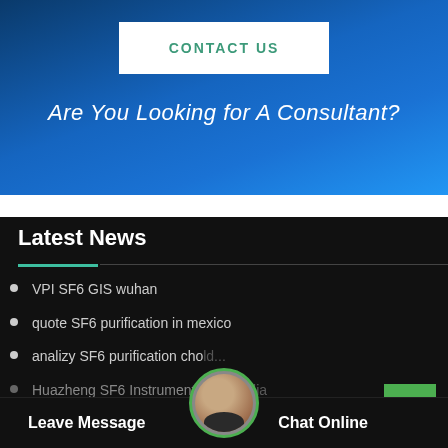CONTACT US
Are You Looking for A Consultant?
Latest News
VPI SF6 GIS wuhan
quote SF6 purification in mexico
analizy SF6 purification cho...
Huazheng SF6 Instrumentation...india
Leave Message
Chat Online